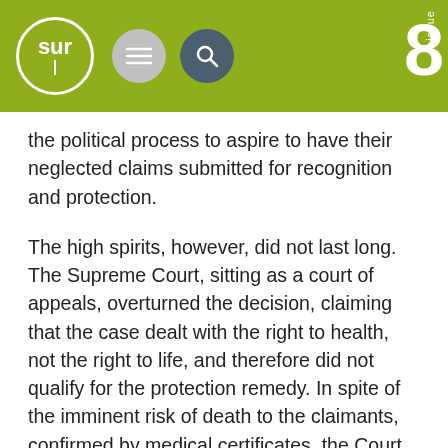sur | issue 8
the political process to aspire to have their neglected claims submitted for recognition and protection.
The high spirits, however, did not last long. The Supreme Court, sitting as a court of appeals, overturned the decision, claiming that the case dealt with the right to health, not the right to life, and therefore did not qualify for the protection remedy. In spite of the imminent risk of death to the claimants, confirmed by medical certificates, the Court stuck to the position that these cases were “outside the bounds of the writ of protection”. This being the case, the Court went on to say, it dealt with a subject that “corresponds to the health authorities [assigned with] putting into practice the health policies planned and implemented by the State Administration in